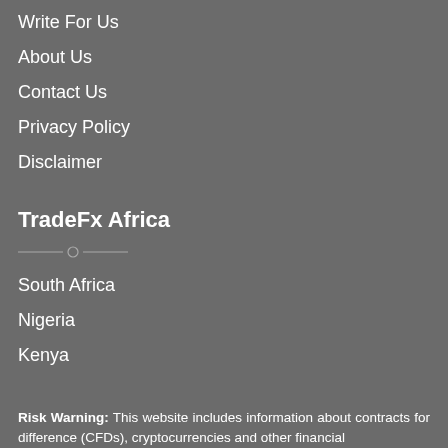Write For Us
About Us
Contact Us
Privacy Policy
Disclaimer
TradeFx Africa
South Africa
Nigeria
Kenya
Risk Warning: This website includes information about contracts for difference (CFDs), cryptocurrencies and other financial